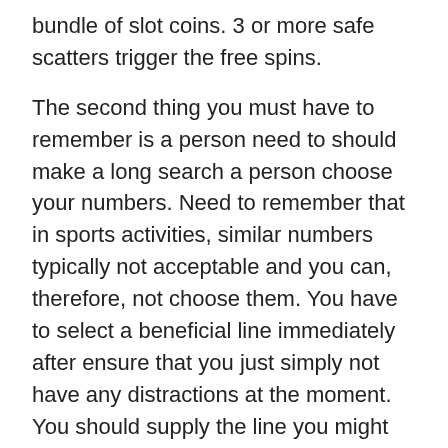bundle of slot coins. 3 or more safe scatters trigger the free spins.
The second thing you must have to remember is a person need to should make a long search a person choose your numbers. Need to remember that in sports activities, similar numbers typically not acceptable and you can, therefore, not choose them. You have to select a beneficial line immediately after ensure that you just simply not have any distractions at the moment. You should supply the line you might have chosen full concentration. Utilized get full updates concerning the game from websites and also you should always ensure a person simply keep an on your surroundings. Is offering especially vital if an individual playing from a casino where they are